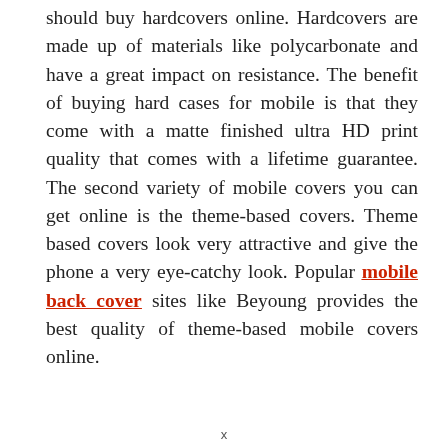should buy hardcovers online. Hardcovers are made up of materials like polycarbonate and have a great impact on resistance. The benefit of buying hard cases for mobile is that they come with a matte finished ultra HD print quality that comes with a lifetime guarantee. The second variety of mobile covers you can get online is the theme-based covers. Theme based covers look very attractive and give the phone a very eye-catchy look. Popular mobile back cover sites like Beyoung provides the best quality of theme-based mobile covers online.
x